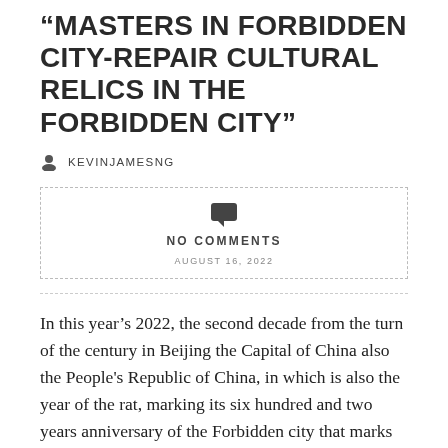“MASTERS IN FORBIDDEN CITY-REPAIR CULTURAL RELICS IN THE FORBIDDEN CITY”
KEVINJAMESNG
[Figure (infographic): Dashed box with speech bubble icon, text NO COMMENTS, and date AUGUST 16, 2022]
In this year’s 2022, the second decade from the turn of the century in Beijing the Capital of China also the People's Republic of China, in which is also the year of the rat, marking its six hundred and two years anniversary of the Forbidden city that marks the